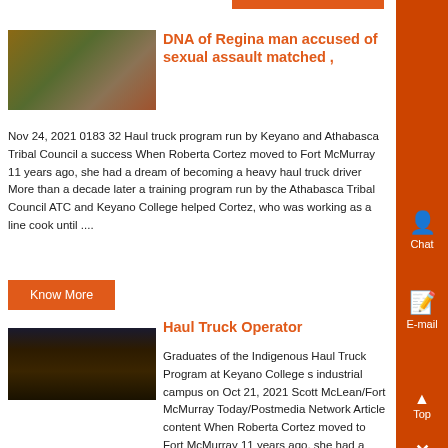[Figure (other): Orange bar at top of page]
[Figure (photo): Thumbnail image of wooden chairs or outdoor furniture]
DNA of Regina man accused of sexual assault matched ,
Nov 24, 2021 0183 32 Haul truck program run by Keyano and Athabasca Tribal Council a success When Roberta Cortez moved to Fort McMurray 11 years ago, she had a dream of becoming a heavy haul truck driver More than a decade later a training program run by the Athabasca Tribal Council ATC and Keyano College helped Cortez, who was working as a line cook until ....
[Figure (photo): Thumbnail of dark industrial interior, haul truck or warehouse]
Haul Truck Operator
Graduates of the Indigenous Haul Truck Program at Keyano College s industrial campus on Oct 21, 2021 Scott McLean/Fort McMurray Today/Postmedia Network Article content When Roberta Cortez moved to Fort McMurray 11 years ago, she had a dream of becoming a heavy haul truck driver More than a decade later a training program